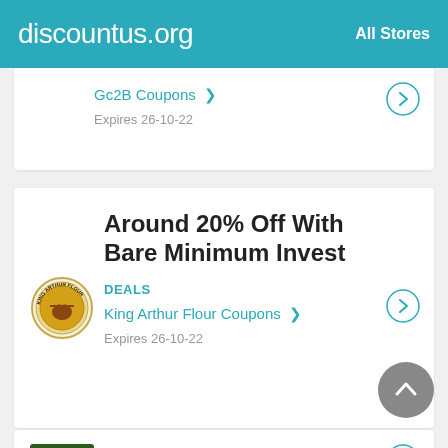discountus.org   All Stores
Gc2B Coupons >
Expires 26-10-22
Around 20% Off With Bare Minimum Invest
DEALS
King Arthur Flour Coupons >
Expires 26-10-22
Shop Now And Save $4
DEALS
LI Reptile Coupons >